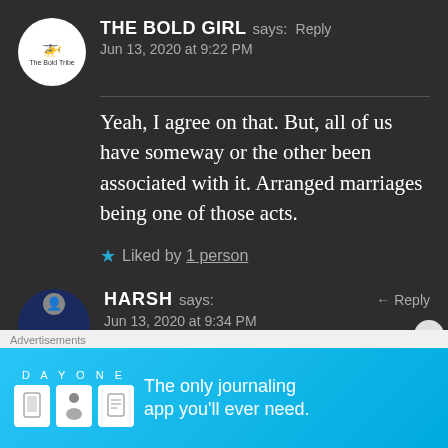THE BOLD GIRL says: Reply
Jun 13, 2020 at 9:22 PM
Yeah, I agree on that. But, all of us have someway or the other been associated with it. Arranged marriages being one of those acts.
★ Liked by 1 person
HARSH says: Reply
Jun 13, 2020 at 9:34 PM
Advertisements
DAY ONE — The only journaling app you'll ever need.